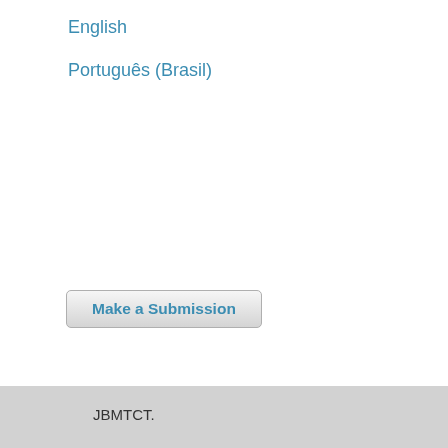English
Português (Brasil)
Make a Submission
JBMTCT.
ISSN: 2675-374X
All rights reserved.
Platform & workflow by